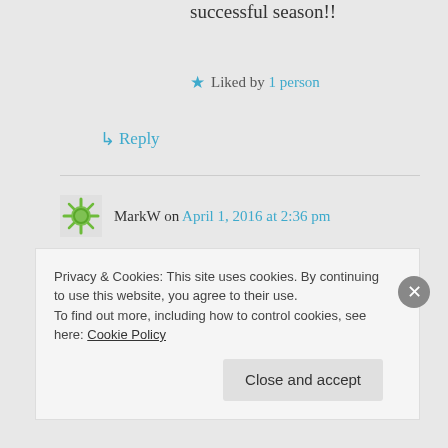successful season!!
Liked by 1 person
↳ Reply
MarkW on April 1, 2016 at 2:36 pm
Anytime, my friend! I'm in San Marcos many weekends – let's figure it out!
Privacy & Cookies: This site uses cookies. By continuing to use this website, you agree to their use.
To find out more, including how to control cookies, see here: Cookie Policy
Close and accept